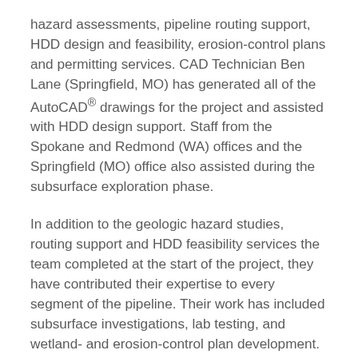hazard assessments, pipeline routing support, HDD design and feasibility, erosion-control plans and permitting services. CAD Technician Ben Lane (Springfield, MO) has generated all of the AutoCAD® drawings for the project and assisted with HDD design support. Staff from the Spokane and Redmond (WA) offices and the Springfield (MO) office also assisted during the subsurface exploration phase.
In addition to the geologic hazard studies, routing support and HDD feasibility services the team completed at the start of the project, they have contributed their expertise to every segment of the pipeline. Their work has included subsurface investigations, lab testing, and wetland- and erosion-control plan development. For the Perrydale segment, they also provided Polk County flood plain permitting support.
For the final Willamette crossing segment now in progress,